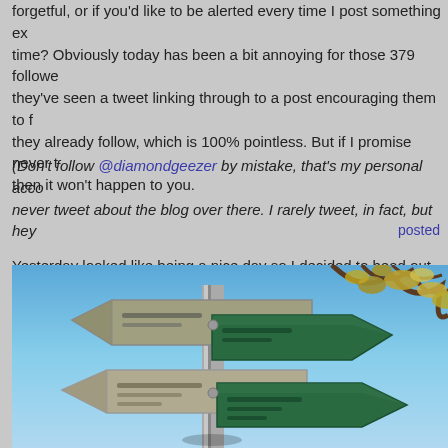forgetful, or if you'd like to be alerted every time I post something ex time? Obviously today has been a bit annoying for those 379 followe they've seen a tweet linking through to a post encouraging them to f they already follow, which is 100% pointless. But if I promise never t then it won't happen to you.
(Don't follow @diamondgeezer by mistake, that's my personal acco never tweet about the blog over there. I rarely tweet, in fact, but hey
posted
Yesterday looked like being a nice day so I decided to head out for a where?
I dug into the shoebox where I keep the leaflets for walks within eas London I haven't done yet, and skimmed through. The rest of the Th Path, perhaps, Broxbourne National Nature Reserve, Colne Valley R around Lewes, walks around Wallingford, the Kennet and Avon Can Way, the Worth Way, the Cuckoo Trail? But it felt like a Chilterns kin to the changing of the seasons, so I settled on a Chesham walk inst
[Figure (photo): Photo of directional signpost with green arrow signs against a blue sky with tree branches and autumn leaves visible]